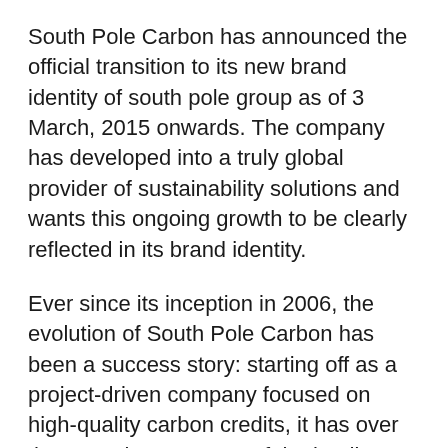South Pole Carbon has announced the official transition to its new brand identity of south pole group as of 3 March, 2015 onwards. The company has developed into a truly global provider of sustainability solutions and wants this ongoing growth to be clearly reflected in its brand identity.
Ever since its inception in 2006, the evolution of South Pole Carbon has been a success story: starting off as a project-driven company focused on high-quality carbon credits, it has over the years become one of the leading providers of climate solutions.
The company now offers a full spectrum of sustainability services, including climate policy and strategy advisory, in addition to its high quality carbon credits. As part of the process, South Pole Carbon has become the world's biggest developer of CO2 emission